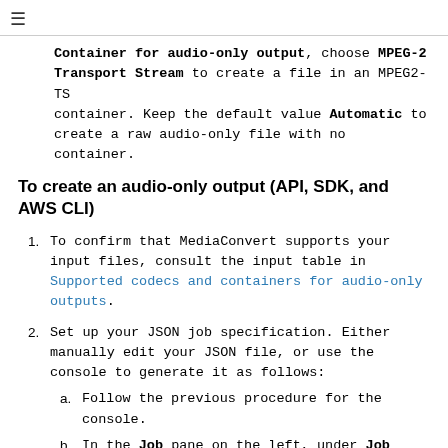≡
Container for audio-only output, choose MPEG-2 Transport Stream to create a file in an MPEG2-TS container. Keep the default value Automatic to create a raw audio-only file with no container.
To create an audio-only output (API, SDK, and AWS CLI)
1. To confirm that MediaConvert supports your input files, consult the input table in Supported codecs and containers for audio-only outputs.
2. Set up your JSON job specification. Either manually edit your JSON file, or use the console to generate it as follows:
a. Follow the previous procedure for the console.
b. In the Job pane on the left, under Job settings, choose Show job JSON.